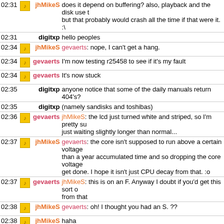| time | icon | nick | message |
| --- | --- | --- | --- |
| 02:31 | icon | jhMikeS | does it depend on buffering? also, playback and the disk use t... but that probably would crash all the time if that were it. :\ |
| 02:31 |  | digitxp | hello peoples |
| 02:34 | icon | jhMikeS | gevaerts: nope, I can't get a hang. |
| 02:34 | icon | gevaerts | I'm now testing r25458 to see if it's my fault |
| 02:34 | icon | gevaerts | It's now stuck |
| 02:35 |  | digitxp | anyone notice that some of the daily manuals return 404's? |
| 02:35 |  | digitxp | (namely sandisks and toshibas) |
| 02:36 | icon | gevaerts | jhMikeS: the lcd just turned white and striped, so I'm pretty su... just waiting slightly longer than normal... |
| 02:37 | icon | jhMikeS | gevaerts: the core isn't supposed to run above a certain voltage... than a year accumulated time and so dropping the core voltage... get done. I hope it isn't just CPU decay from that. :o |
| 02:37 | icon | gevaerts | jhMikeS: this is on an F. Anyway I doubt if you'd get this sort o... from that |
| 02:38 | icon | jhMikeS | gevaerts: oh! I thought you had an S. ?? |
| 02:38 | icon | jhMikeS | haha |
| 02:38 | icon | gevaerts | I have both :) |
| 02:38 | icon | jhMikeS | me too :) |
| 02:39 | icon | gevaerts | What I'm doing is just going to Browse Theme Files, and then... through the list one by one while the music is playing. Sooner... freezes |
| 02:42 | icon | gevaerts | digitxp: weird. The people who can have a look at it have gone... though |
| 02:42 | icon | jhMikeS | ok, then I'll get on the same page here and check that out. :) |